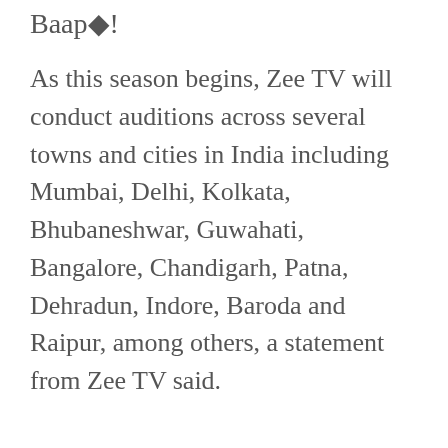Baap◆!
As this season begins, Zee TV will conduct auditions across several towns and cities in India including Mumbai, Delhi, Kolkata, Bhubaneshwar, Guwahati, Bangalore, Chandigarh, Patna, Dehradun, Indore, Baroda and Raipur, among others, a statement from Zee TV said.